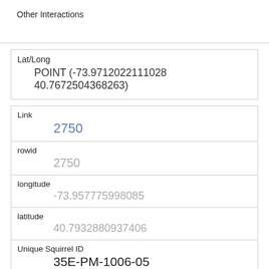| Other Interactions |  |
| Lat/Long | POINT (-73.9712022111028 40.7672504368263) |
| Link | 2750 |
| rowid | 2750 |
| longitude | -73.957775998085 |
| latitude | 40.7932880937406 |
| Unique Squirrel ID | 35E-PM-1006-05 |
| Hectare | 35E |
| Shift | PM |
| Date | 10062018 |